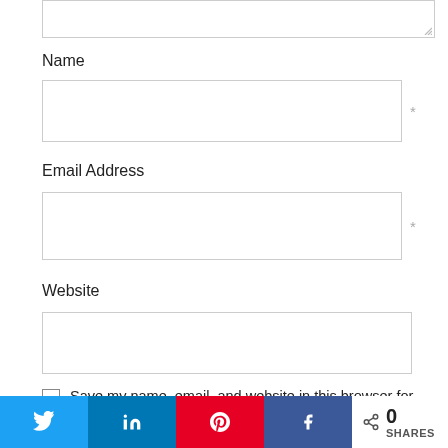[Figure (screenshot): Top portion of a text input field (textarea) with resize handle]
Name
[Figure (screenshot): Empty text input field for Name with asterisk required marker]
Email Address
[Figure (screenshot): Empty text input field for Email Address with asterisk required marker]
Website
[Figure (screenshot): Empty text input field for Website]
Save my name, email, and website in this browser for the next time I comment.
[Figure (screenshot): Social sharing bar with Twitter, LinkedIn, Pinterest, Facebook buttons and 0 SHARES count]